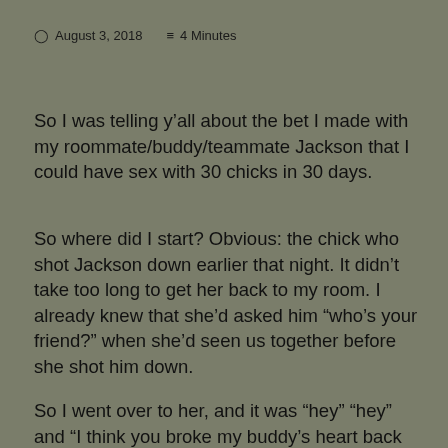August 3, 2018  4 Minutes
So I was telling y’all about the bet I made with my roommate/buddy/teammate Jackson that I could have sex with 30 chicks in 30 days.
So where did I start? Obvious: the chick who shot Jackson down earlier that night. It didn’t take too long to get her back to my room. I already knew that she’d asked him “who’s your friend?” when she’d seen us together before she shot him down.
So I went over to her, and it was “hey” “hey” and “I think you broke my buddy’s heart back